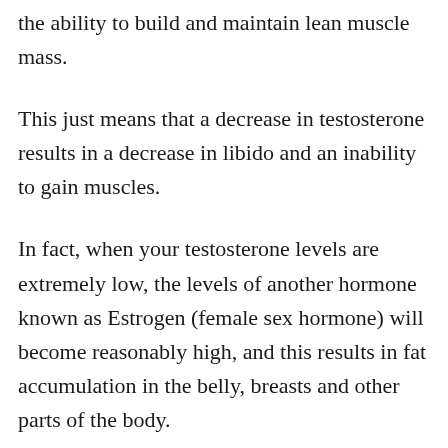the ability to build and maintain lean muscle mass.
This just means that a decrease in testosterone results in a decrease in libido and an inability to gain muscles.
In fact, when your testosterone levels are extremely low, the levels of another hormone known as Estrogen (female sex hormone) will become reasonably high, and this results in fat accumulation in the belly, breasts and other parts of the body.